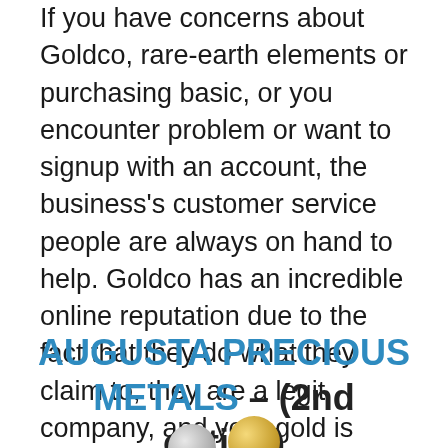If you have concerns about Goldco, rare-earth elements or purchasing basic, or you encounter problem or want to signup with an account, the business's customer service people are always on hand to help. Goldco has an incredible online reputation due to the fact that they do what they claim to, they are a legit company, and your gold is saved securely with their suggested gold custodians. As a specialist in financing I have not a problem with recommending them for your financial investments in silver, gold or various other precious metals.
AUGUSTA PRECIOUS METALS – (2nd option)